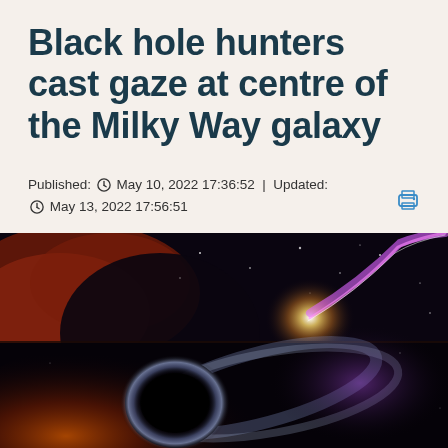Black hole hunters cast gaze at centre of the Milky Way galaxy
Published: 🕐 May 10, 2022 17:36:52 | Updated: 🕐 May 13, 2022 17:56:51
[Figure (illustration): Artistic illustration of a black hole with glowing accretion disk and purple energy jet against a dark starfield, with swirling gas clouds in the lower portion]